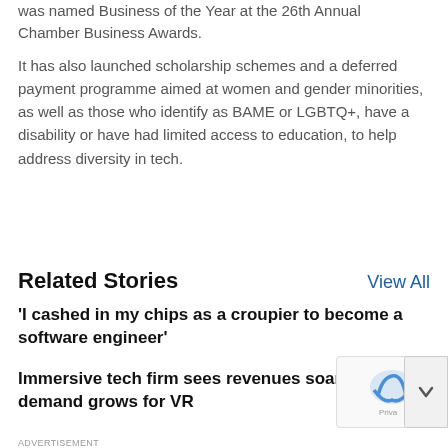was named Business of the Year at the 26th Annual Chamber Business Awards.
It has also launched scholarship schemes and a deferred payment programme aimed at women and gender minorities, as well as those who identify as BAME or LGBTQ+, have a disability or have had limited access to education, to help address diversity in tech.
Related Stories
View All
'I cashed in my chips as a croupier to become a software engineer'
Immersive tech firm sees revenues soar as demand grows for VR
ADVERTISEMENT